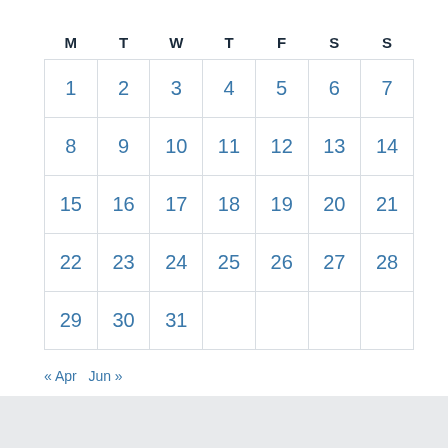| M | T | W | T | F | S | S |
| --- | --- | --- | --- | --- | --- | --- |
| 1 | 2 | 3 | 4 | 5 | 6 | 7 |
| 8 | 9 | 10 | 11 | 12 | 13 | 14 |
| 15 | 16 | 17 | 18 | 19 | 20 | 21 |
| 22 | 23 | 24 | 25 | 26 | 27 | 28 |
| 29 | 30 | 31 |  |  |  |  |
« Apr   Jun »